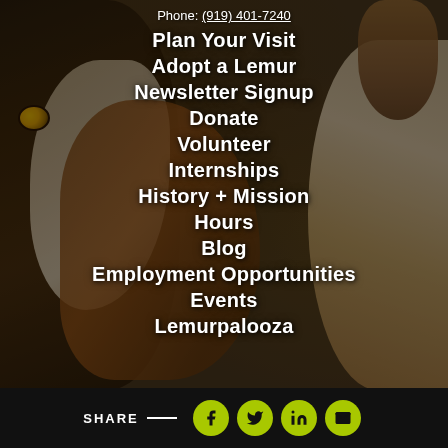Phone: (919) 401-7240
Plan Your Visit
Adopt a Lemur
Newsletter Signup
Donate
Volunteer
Internships
History + Mission
Hours
Blog
Employment Opportunities
Events
Lemurpalooza
SHARE — [Facebook] [Twitter] [LinkedIn] [Email]